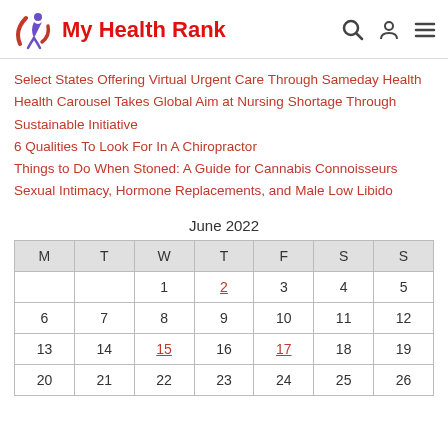My Health Rank
Select States Offering Virtual Urgent Care Through Sameday Health
Health Carousel Takes Global Aim at Nursing Shortage Through Sustainable Initiative
6 Qualities To Look For In A Chiropractor
Things to Do When Stoned: A Guide for Cannabis Connoisseurs
Sexual Intimacy, Hormone Replacements, and Male Low Libido
June 2022
| M | T | W | T | F | S | S |
| --- | --- | --- | --- | --- | --- | --- |
|  |  | 1 | 2 | 3 | 4 | 5 |
| 6 | 7 | 8 | 9 | 10 | 11 | 12 |
| 13 | 14 | 15 | 16 | 17 | 18 | 19 |
| 20 | 21 | 22 | 23 | 24 | 25 | 26 |